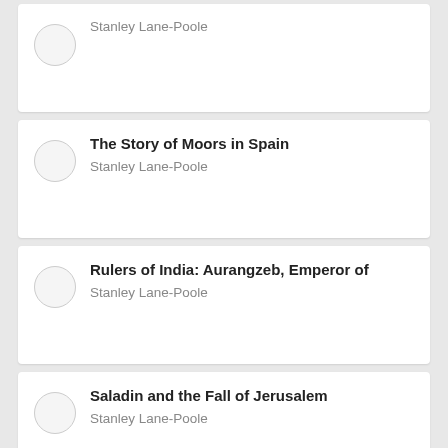Stanley Lane-Poole
The Story of Moors in Spain
Stanley Lane-Poole
Rulers of India: Aurangzeb, Emperor of
Stanley Lane-Poole
Saladin and the Fall of Jerusalem
Stanley Lane-Poole
The Speeches and Table-Talk of the
Prophet Mohammed & Stanley Lane-...